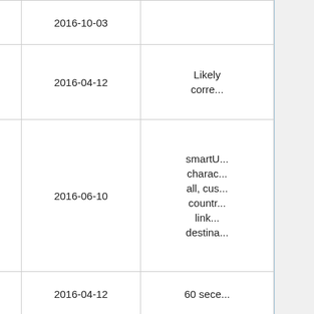| Service | Date | Notes |
| --- | --- | --- |
| sh.st | 2016-10-03 |  |
| smallr.net | 2016-04-12 | Likely corre... |
| smarturl.it | 2016-06-10 | smartU... charac... all, cus... countr... link... destina... |
| smurl.name | 2016-04-12 | 60 sec... |
| soa.li / soc.li | 2016-09-17 | Gigya... |
| soli.dm | 2015-12-16 | Solid Me... of 12-1... 301... |
| soo.gd | 2016-07-13 |  |
|  |  | Likely n... |